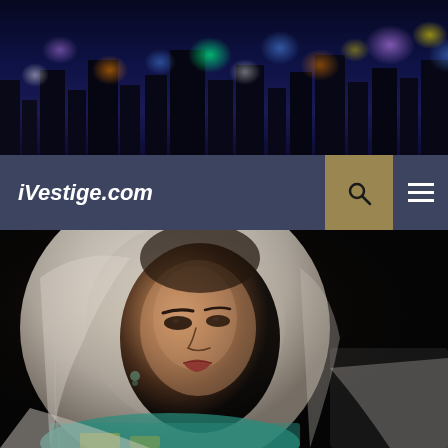[Figure (photo): Top banner showing a blurry night city skyline with colorful bokeh lights (blue, green, orange, purple) against a dark sky]
iVestige.com
[Figure (photo): Portrait photograph of a woman wearing a white hijab/headscarf and colorful teal/yellow patterned garment, looking upward against a dark background]